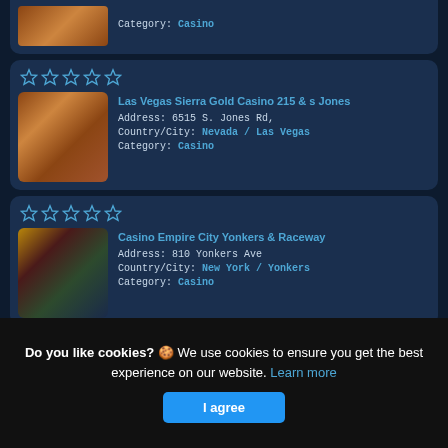[Figure (screenshot): Partial casino listing card at top - shows Category: Casino text with casino interior image]
Las Vegas Sierra Gold Casino 215 & s Jones | Address: 6515 S. Jones Rd, | Country/City: Nevada / Las Vegas | Category: Casino
Casino Empire City Yonkers & Raceway | Address: 810 Yonkers Ave | Country/City: New York / Yonkers | Category: Casino
Metropolis Harrah's Casino & Hotel | Address: 100 E Front St | Country/City: Illinois / Metropolis
Do you like cookies? 🍪 We use cookies to ensure you get the best experience on our website. Learn more | I agree